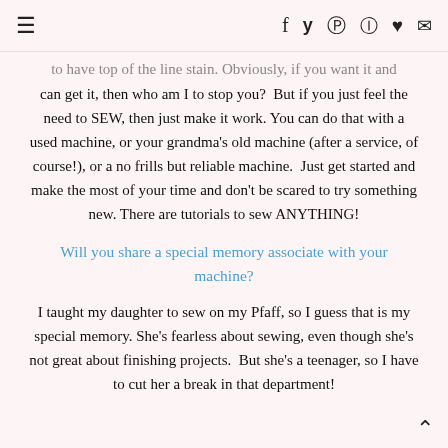≡  f  𝕐   pinterest  instagram  ♥  ✉
to have top of the line stain. Obviously, if you want it and can get it, then who am I to stop you?  But if you just feel the need to SEW, then just make it work. You can do that with a used machine, or your grandma's old machine (after a service, of course!), or a no frills but reliable machine.  Just get started and make the most of your time and don't be scared to try something new. There are tutorials to sew ANYTHING!
Will you share a special memory associate with your machine?
I taught my daughter to sew on my Pfaff, so I guess that is my special memory. She's fearless about sewing, even though she's not great about finishing projects.  But she's a teenager, so I have to cut her a break in that department!